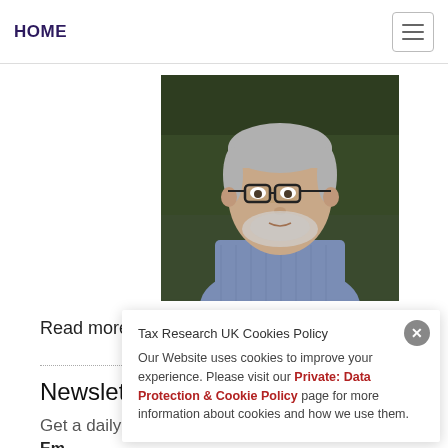HOME
[Figure (photo): Portrait photo of a middle-aged white man with gray hair and beard, wearing glasses and a checkered shirt, with a dark blurred background.]
Read more about me
Newsletter signup
Get a daily email of my blog posts
Email
Name
Tax Research UK Cookies Policy
Our Website uses cookies to improve your experience. Please visit our Private: Data Protection & Cookie Policy page for more information about cookies and how we use them.